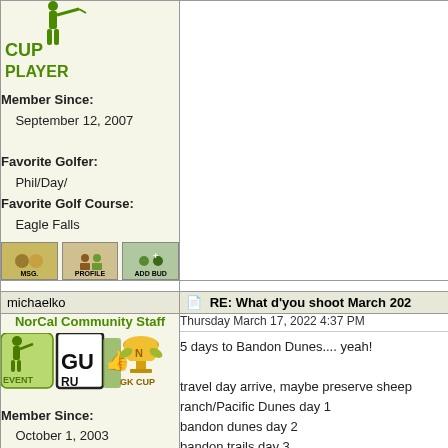[Figure (illustration): GK Cup Player badge with golfer silhouette and green text reading CUP PLAYER]
Member Since:
    September 12, 2007

Favorite Golfer:
    Phil/Day/
Favorite Golf Course:
    Eagle Falls
[Figure (illustration): Three action buttons: MSG., PROFILE, ADD BUD]
michaelko
RE: What d'you shoot March 202
[Figure (illustration): NorCal Community Staff badges: EVENT guru, GURU, GK CUP trophy]
NorCal Community Staff

Member Since:
    October 1, 2003

Favorite Golfer:
    N/A
Thursday March 17, 2022 4:37 PM

5 days to Bandon Dunes.... yeah!

travel day arrive, maybe preserve sheep ranch/Pacific Dunes day 1
bandon dunes day 2
bandon trails day 3
leave day 3.

no old mac. tough putting together to get the first nite lodging, and wa